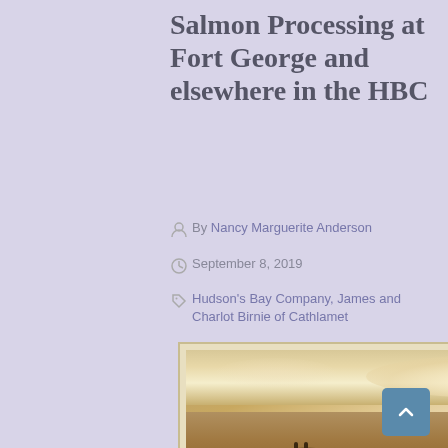Salmon Processing at Fort George and elsewhere in the HBC
By Nancy Marguerite Anderson
September 8, 2019
Hudson's Bay Company, James and Charlot Birnie of Cathlamet
[Figure (illustration): A sepia-toned painting depicting a river scene with a canoe in the foreground, rocky shoreline and cliffs in the middle ground with buildings visible, and a dramatic cloudy sky above.]